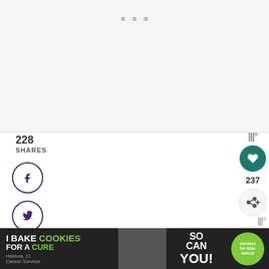[Figure (screenshot): Top image area placeholder with three gray dots, light gray background representing an embedded image or media]
228
SHARES
[Figure (infographic): Social sharing buttons: Facebook, Twitter, Pinterest, Email - circular icons with dark purple outline]
[Figure (infographic): Right side widgets: WW logo, heart button, 237 count, share+ button]
You can also check out my autu... crepe paper flower wreath, or make this
[Figure (screenshot): WHAT'S NEXT banner with Crepe Paper Peony thumbnail]
[Figure (screenshot): Advertisement banner: I Bake COOKIES For A CURE - Haldora, 11 Cancer Survivor - So can you! - cookies for kids cancer]